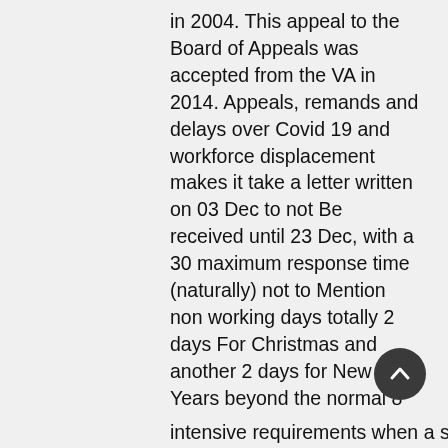in 2004. This appeal to the Board of Appeals was accepted from the VA in 2014. Appeals, remands and delays over Covid 19 and workforce displacement makes it take a letter written on 03 Dec to not Be received until 23 Dec, with a 30 maximum response time (naturally) not to Mention non working days totally 2 days For Christmas and another 2 days for New Years beyond the normal 8 weekend days within-30 day period. and I Would naturally need to forward to my Attorney back in Washington DC and have them respond in a timely manner before 03 Jan or
Risk Loosing the VA recognition of my attorney.
They sure seem to find every possible way to delay remand or other more Effort intensive requirements when a simple text